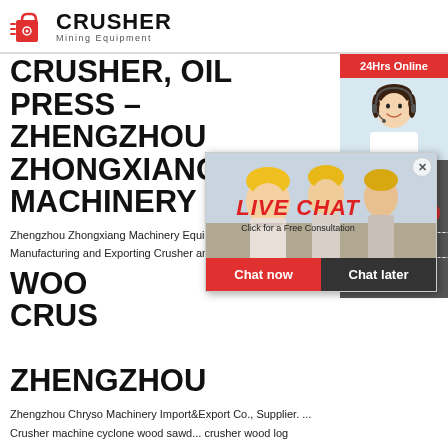[Figure (logo): Crusher Mining Equipment logo with red shopping bag icon and bold CRUSHER text]
CRUSHER, OIL PRESS – ZHENGZHOU ZHONGXIANG MACHINERY ...
Zhengzhou Zhongxiang Machinery Equipment Co., Experts in Manufacturing and Exporting Crusher and 5192 m...
WOOD CRUSHER DIRECT FROM ZHENGZHOU
Zhengzhou Chryso Machinery Import&Export Co., Supplier. ... Crusher machine cyclone wood sawdust crusher wood log sawdust making machine. $500 $10,000.00 / Set. 1.0 Sets (Min. Order) Wood p... crusher machine wood chipper crusher wood wa...
[Figure (screenshot): Live chat popup overlay showing workers in hard hats, LIVE CHAT text in red italic, Click for a Free Consultation subtitle, with Chat now (red) and Chat later (dark) buttons]
[Figure (screenshot): Right sidebar with 24Hrs Online header in red, customer service agent photo, Need questions & suggestion text, Chat Now button, Enquiry section, and limingjlmofen@sina.com contact email]